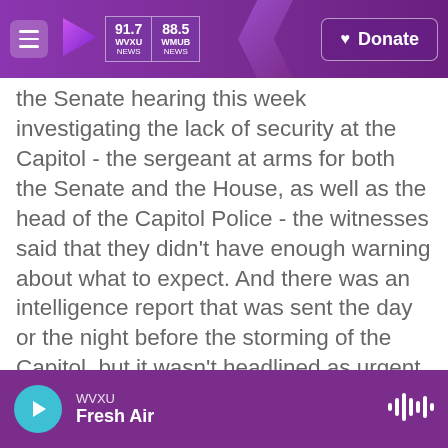91.7 WVXU NEWS | 88.5 WMUB NEWS | Donate
the Senate hearing this week investigating the lack of security at the Capitol - the sergeant at arms for both the Senate and the House, as well as the head of the Capitol Police - the witnesses said that they didn't have enough warning about what to expect. And there was an intelligence report that was sent the day or the night before the storming of the Capitol, but it wasn't headlined as urgent, and they didn't see it.
So the sub headline of your article reads, the Capitol was breached by Trump supporters who had been declaring at rally after rally that they
WVXU | Fresh Air